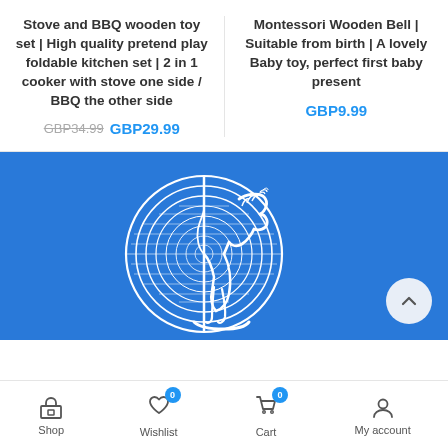Stove and BBQ wooden toy set | High quality pretend play foldable kitchen set | 2 in 1 cooker with stove one side / BBQ the other side
GBP34.99  GBP29.99
Montessori Wooden Bell | Suitable from birth | A lovely Baby toy, perfect first baby present
GBP9.99
[Figure (logo): White rocking horse / wooden toy logo on blue background]
Shop  Wishlist 0  Cart 0  My account